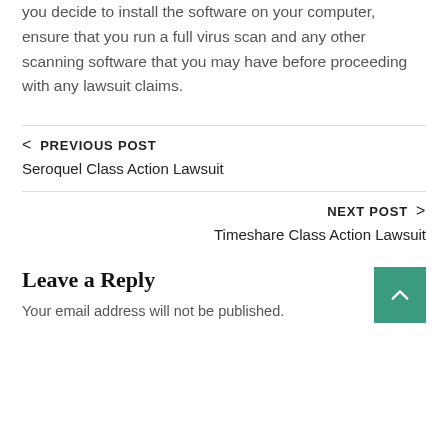you decide to install the software on your computer, ensure that you run a full virus scan and any other scanning software that you may have before proceeding with any lawsuit claims.
< PREVIOUS POST
Seroquel Class Action Lawsuit
NEXT POST >
Timeshare Class Action Lawsuit
Leave a Reply
Your email address will not be published.